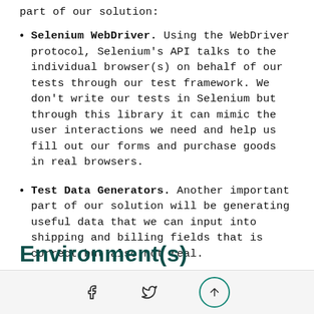part of our solution:
Selenium WebDriver. Using the WebDriver protocol, Selenium's API talks to the individual browser(s) on behalf of our tests through our test framework. We don't write our tests in Selenium but through this library it can mimic the user interactions we need and help us fill out our forms and purchase goods in real browsers.
Test Data Generators. Another important part of our solution will be generating useful data that we can input into shipping and billing fields that is correct but also not real.
Environment(s)
social icons and scroll-to-top button